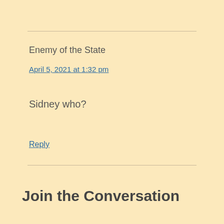Enemy of the State
April 5, 2021 at 1:32 pm
Sidney who?
Reply
Join the Conversation